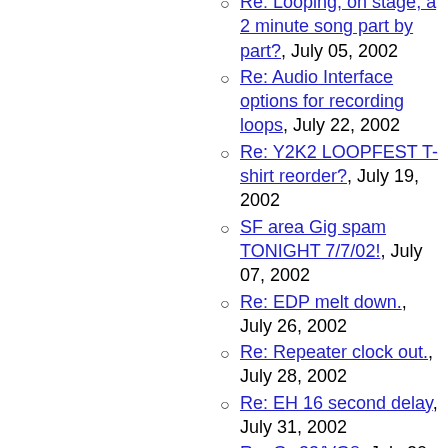Re: Looping, on stage, a 2 minute song part by part?, July 05, 2002
Re: Audio Interface options for recording loops, July 22, 2002
Re: Y2K2 LOOPFEST T-shirt reorder?, July 19, 2002
SF area Gig spam TONIGHT 7/7/02!, July 07, 2002
Re: EDP melt down., July 26, 2002
Re: Repeater clock out., July 28, 2002
Re: EH 16 second delay, July 31, 2002
Re: Gr-33/VG8, July 20, 2002
Re: Audio interfaces, July 18, 2002
Y2K2 loop picts, July 27, 2002
Repeater clock out